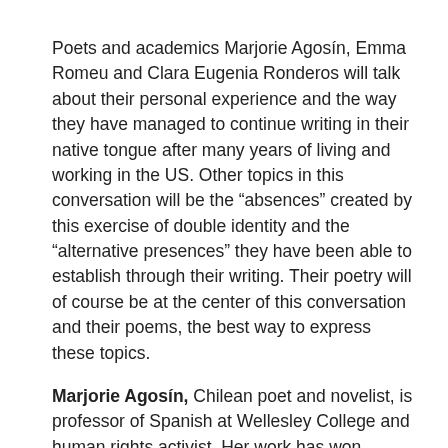Poets and academics Marjorie Agosín, Emma Romeu and Clara Eugenia Ronderos will talk about their personal experience and the way they have managed to continue writing in their native tongue after many years of living and working in the US. Other topics in this conversation will be the “absences” created by this exercise of double identity and the “alternative presences” they have been able to establish through their writing. Their poetry will of course be at the center of this conversation and their poems, the best way to express these topics.
Marjorie Agosín, Chilean poet and novelist, is professor of Spanish at Wellesley College and human rights activist. Her work has won numerous prizes, including the Pura Belpre Award and the Latino Literature Prize for her collection of poems El ángel de la memoria. Emma Romeu, Cuban writer, poet and environmental journalist, works as professor of Spanish at Berklee College of Music. She has published her works with publishing houses in Spain...